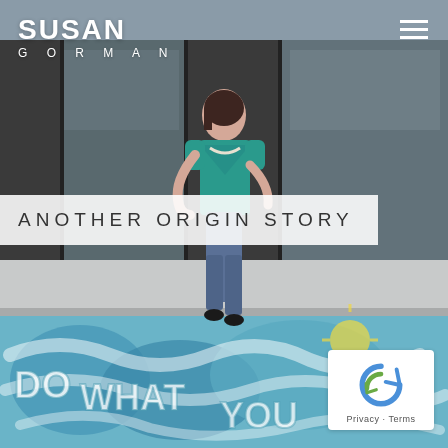[Figure (photo): Woman in teal top and jeans standing in front of a glass building facade, with colorful chalk street art reading 'Do What You Love' below her feet]
SUSAN GORMAN
ANOTHER ORIGIN STORY
[Figure (logo): reCAPTCHA logo with Privacy and Terms links]